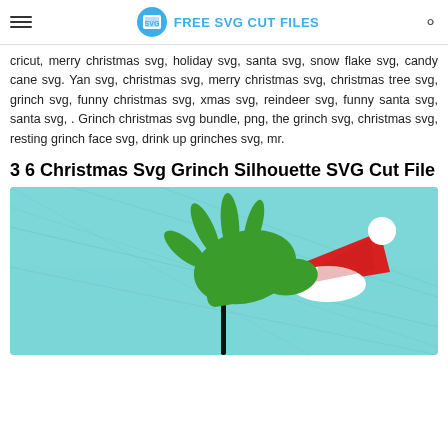FREE SVG CUT FILES
cricut, merry christmas svg, holiday svg, santa svg, snow flake svg, candy cane svg. Yan svg, christmas svg, merry christmas svg, christmas tree svg, grinch svg, funny christmas svg, xmas svg, reindeer svg, funny santa svg, santa svg, . Grinch christmas svg bundle, png, the grinch svg, christmas svg, resting grinch face svg, drink up grinches svg, mr.
3 6 Christmas Svg Grinch Silhouette SVG Cut File
[Figure (illustration): Grinch green hand silhouette holding a red Santa hat with white fluffy trim, on a light teal/cyan background]